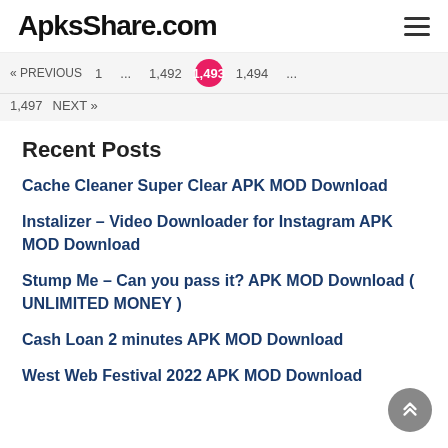ApksShare.com
« PREVIOUS  1  ...  1,492  1,493  1,494  ...
1,497  NEXT »
Recent Posts
Cache Cleaner Super Clear APK MOD Download
Instalizer – Video Downloader for Instagram APK MOD Download
Stump Me – Can you pass it? APK MOD Download ( UNLIMITED MONEY )
Cash Loan 2 minutes APK MOD Download
West Web Festival 2022 APK MOD Download